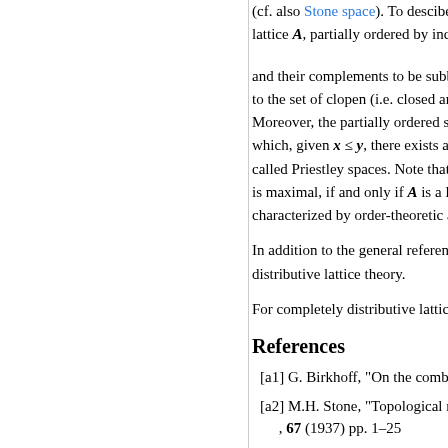(cf. also Stone space). To describe lattice A, partially ordered by inclu...
and their complements to be subb... to the set of clopen (i.e. closed an... Moreover, the partially ordered sp... which, given x ≤ y, there exists a... called Priestley spaces. Note that... is maximal, if and only if A is a Bo... characterized by order-theoretic a...
In addition to the general referenc... distributive lattice theory.
For completely distributive lattices...
References
[a1] G. Birkhoff, "On the combina..."
[a2] M.H. Stone, "Topological rep...", 67 (1937) pp. 1–25
[a3] H.A. Priestley, "Ordered topo..."